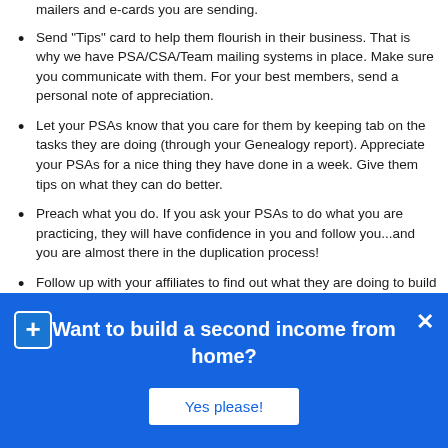mailers and e-cards you are sending.
Send "Tips" card to help them flourish in their business. That is why we have PSA/CSA/Team mailing systems in place. Make sure you communicate with them. For your best members, send a personal note of appreciation.
Let your PSAs know that you care for them by keeping tab on the tasks they are doing (through your Genealogy report). Appreciate your PSAs for a nice thing they have done in a week. Give them tips on what they can do better.
Preach what you do. If you ask your PSAs to do what you are practicing, they will have confidence in you and follow you...and you are almost there in the duplication process!
Follow up with your affiliates to find out what they are doing to build their downline. If you have an S-Builder co-op set up for your team, ask them if they are interested to become part of it. Same for PSAs-to-Go!
Ask them to become active participants--to generate Personally Referred Members for TripleClicks, E-Commerce
[Figure (infographic): Blue banner overlay with white text 'Want to build a second income from home?' and a white 'Yes please!' button. Blue plus icon on left, white X close icon on right.]